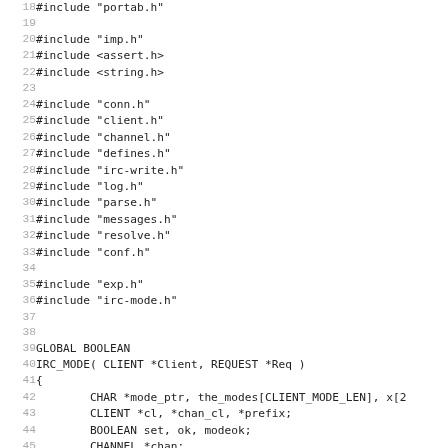Source code listing lines 18-50, showing C #include directives and the beginning of the IRC_MODE function definition.